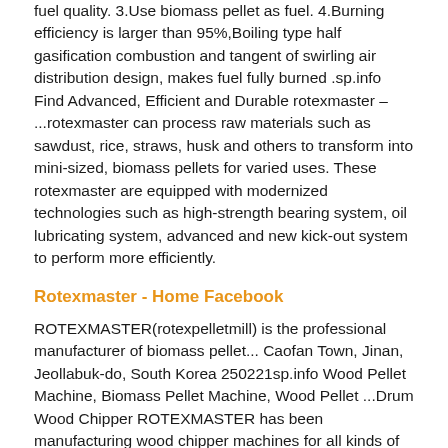fuel quality. 3.Use biomass pellet as fuel. 4.Burning efficiency is larger than 95%,Boiling type half gasification combustion and tangent of swirling air distribution design, makes fuel fully burned .sp.info Find Advanced, Efficient and Durable rotexmaster – ...rotexmaster can process raw materials such as sawdust, rice, straws, husk and others to transform into mini-sized, biomass pellets for varied uses. These rotexmaster are equipped with modernized technologies such as high-strength bearing system, oil lubricating system, advanced and new kick-out system to perform more efficiently.
Rotexmaster - Home Facebook
ROTEXMASTER(rotexpelletmill) is the professional manufacturer of biomass pellet... Caofan Town, Jinan, Jeollabuk-do, South Korea 250221sp.info Wood Pellet Machine, Biomass Pellet Machine, Wood Pellet ...Drum Wood Chipper ROTEXMASTER has been manufacturing wood chipper machines for all kinds of application fields. Our drum wood chipper are known for their performance